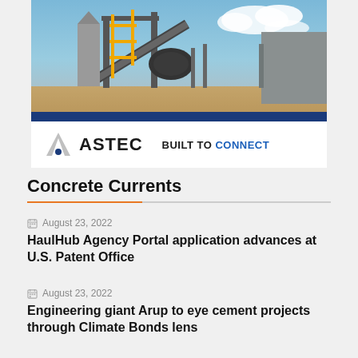[Figure (photo): Industrial construction/concrete plant machinery with yellow scaffolding and equipment against a blue sky, with an Astec logo and 'BUILT TO CONNECT' tagline on a white bar below the photo.]
Concrete Currents
August 23, 2022
HaulHub Agency Portal application advances at U.S. Patent Office
August 23, 2022
Engineering giant Arup to eye cement projects through Climate Bonds lens